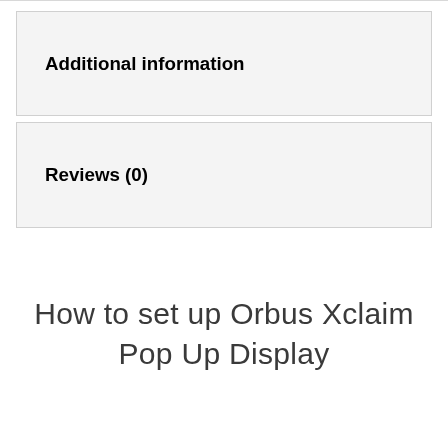Additional information
Reviews (0)
How to set up Orbus Xclaim Pop Up Display